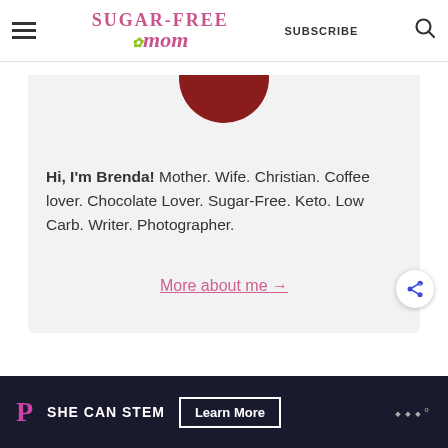Sugar-Free Mom — SUBSCRIBE
[Figure (photo): Partial view of a dark red ceramic plate/bowl at the top of an about-me card section]
Hi, I'm Brenda! Mother. Wife. Christian. Coffee lover. Chocolate Lover. Sugar-Free. Keto. Low Carb. Writer. Photographer.
More about me →
[Figure (screenshot): SHE CAN STEM advertisement banner with Learn More button and W logo mark]